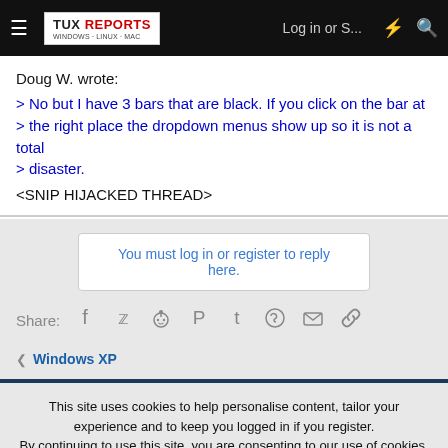TUX REPORTS | Log in or S... | [icons]
Doug W. wrote:
> No but I have 3 bars that are black. If you click on the bar at the right place the dropdown menus show up so it is not a total
> disaster.
<SNIP HIJACKED THREAD>
You must log in or register to reply here.
Share: [Facebook] [Twitter] [Reddit] [Pinterest] [Tumblr] [WhatsApp] [Email] [Link]
< Windows XP
This site uses cookies to help personalise content, tailor your experience and to keep you logged in if you register.
By continuing to use this site, you are consenting to our use of cookies.
✓ Accept | Learn more...